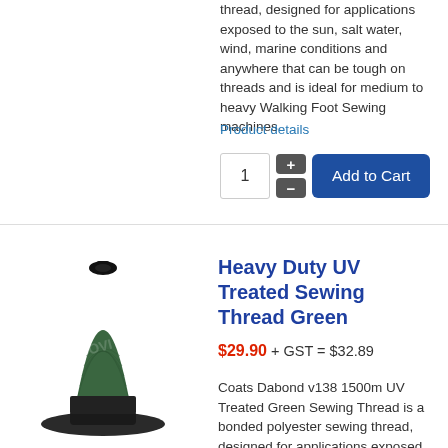thread, designed for applications exposed to the sun, salt water, wind, marine conditions and anywhere that can be tough on threads and is ideal for medium to heavy Walking Foot Sewing machines.
Product details
[Figure (screenshot): Quantity selector with plus and minus buttons, and Add to Cart button]
[Figure (photo): Green sewing thread spool - Heavy Duty UV Treated Sewing Thread Green]
Heavy Duty UV Treated Sewing Thread Green
$29.90 + GST = $32.89
Coats Dabond v138 1500m UV Treated Green Sewing Thread is a bonded polyester sewing thread, designed for applications exposed to the sun, salt water,